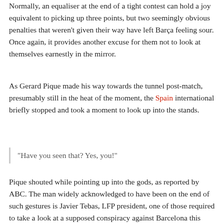Normally, an equaliser at the end of a tight contest can hold a joy equivalent to picking up three points, but two seemingly obvious penalties that weren't given their way have left Barça feeling sour. Once again, it provides another excuse for them not to look at themselves earnestly in the mirror.
As Gerard Pique made his way towards the tunnel post-match, presumably still in the heat of the moment, the Spain international briefly stopped and took a moment to look up into the stands.
“Have you seen that? Yes, you!”
Pique shouted while pointing up into the gods, as reported by ABC. The man widely acknowledged to have been on the end of such gestures is Javier Tebas, LFP president, one of those required to take a look at a supposed conspiracy against Barcelona this season – which exists according to Pique